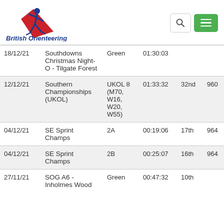[Figure (logo): British Orienteering logo with running figure graphic and text 'British Orienteering']
| Date | Event | Course | Time | Pos | Pts |
| --- | --- | --- | --- | --- | --- |
| 18/12/21 | Southdowns Christmas Night-O - Tilgate Forest | Green | 01:30:03 |  |  |
| 12/12/21 | Southern Championships (UKOL) | UKOL 8 (M70, W16, W20, W55) | 01:33:32 | 32nd | 960 |
| 04/12/21 | SE Sprint Champs | 2A | 00:19:06 | 17th | 964 |
| 04/12/21 | SE Sprint Champs | 2B | 00:25:07 | 16th | 964 |
| 27/11/21 | SOG A6 - Inholmes Wood | Green | 00:47:32 | 10th |  |